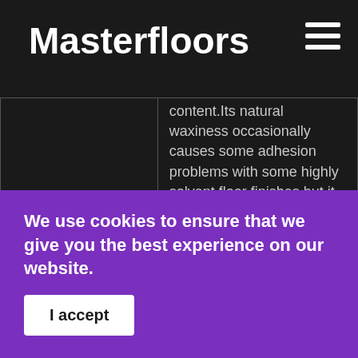Masterfloors
|  | content.Its natural waxiness occasionally causes some adhesion problems with some highly solvent floor finishes but it is a very good base for paints and stains.Low in tannins and is much less inclined to stain than the eucalyptus when leached by rain. |
| Common Uses: | Paneling, cladding, and timber flooring. |
We use cookies to ensure that we give you the best experience on our website.
I accept